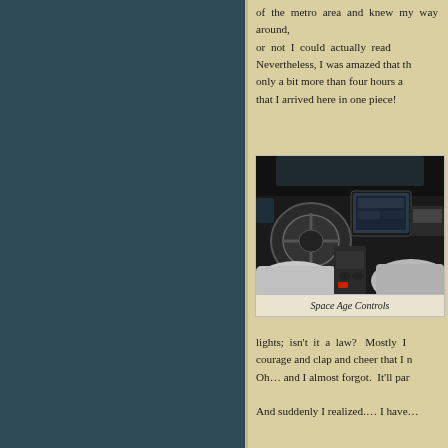of the metro area and knew my way around, or not I could actually read … Nevertheless, I was amazed that the trip took only a bit more than four hours and the fact that I arrived here in one piece!
[Figure (photo): Car interior showing steering wheel, dashboard, and center console with touchscreen infotainment system and light grey seats]
Space Age Controls
lights; isn't it a law?  Mostly I … courage and clap and cheer that I n… Oh… and I almost forgot.  It'll par…
And suddenly I realized.… I have…